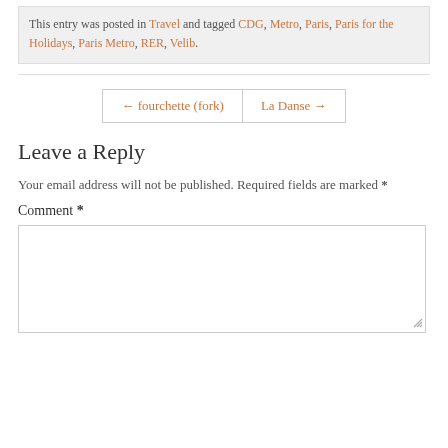This entry was posted in Travel and tagged CDG, Metro, Paris, Paris for the Holidays, Paris Metro, RER, Velib.
← fourchette (fork)   La Danse →
Leave a Reply
Your email address will not be published. Required fields are marked *
Comment *